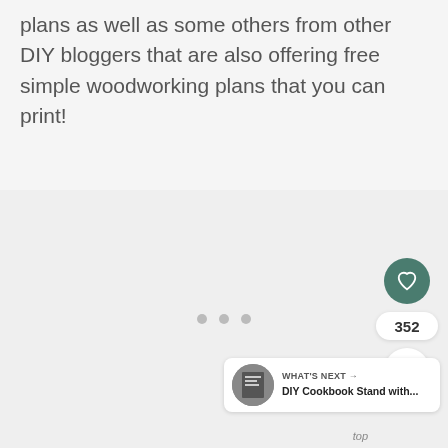plans as well as some others from other DIY bloggers that are also offering free simple woodworking plans that you can print!
[Figure (other): Advertisement placeholder area with three gray dots centered, showing loading/ad state. Social share UI overlay on right side with heart button (352 saves), share button, and 'What's Next' card showing DIY Cookbook Stand with... A 'top' link appears at bottom right.]